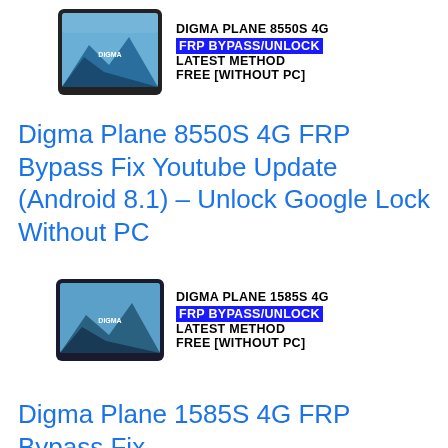[Figure (illustration): Thumbnail image of Digma Plane 8550S 4G tablet with text: DIGMA PLANE 8550S 4G, FRP BYPASS/UNLOCK, LATEST METHOD, FREE [WITHOUT PC]]
Digma Plane 8550S 4G FRP Bypass Fix Youtube Update (Android 8.1) – Unlock Google Lock Without PC
[Figure (illustration): Thumbnail image of Digma Plane 1585S 4G tablet with text: DIGMA PLANE 1585S 4G, FRP BYPASS/UNLOCK, LATEST METHOD, FREE [WITHOUT PC]]
Digma Plane 1585S 4G FRP Bypass Fix